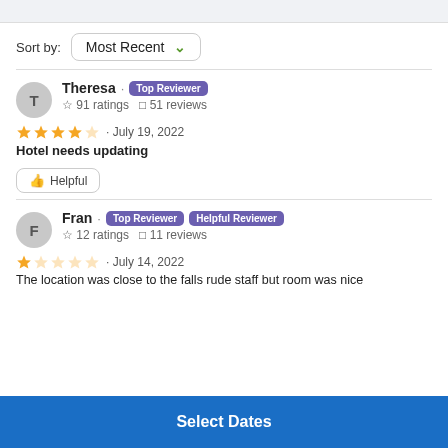Sort by: Most Recent
Theresa · Top Reviewer · ☆ 91 ratings · 51 reviews
★★★★☆ · July 19, 2022
Hotel needs updating
👍 Helpful
Fran · Top Reviewer · Helpful Reviewer · ☆ 12 ratings · 11 reviews
★☆☆☆☆ · July 14, 2022
The location was close to the falls rude staff but room was nice
Select Dates